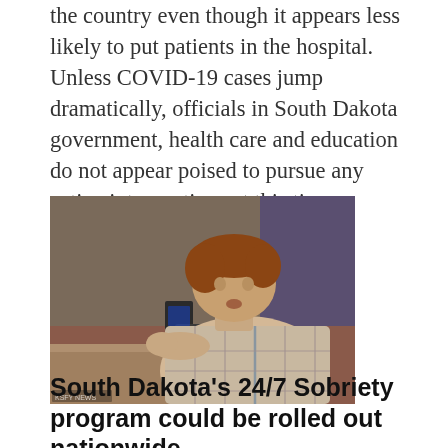the country even though it appears less likely to put patients in the hospital. Unless COVID-19 cases jump dramatically, officials in South Dakota government, health care and education do not appear poised to pursue any active interventions at this time.
[Figure (photo): A man in a plaid shirt leaning forward and blowing into a breathalyzer device mounted on a wall or counter, in an indoor setting.]
South Dakota's 24/7 Sobriety program could be rolled out nationwide